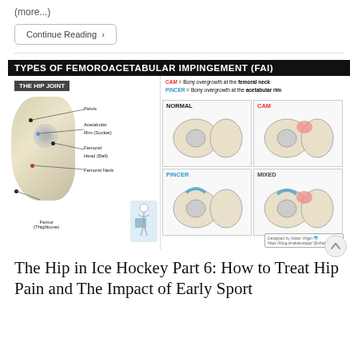(more...)
Continue Reading ›
[Figure (illustration): Medical diagram titled 'Types of Femoroacetabular Impingement (FAI)' showing the hip joint anatomy on the left with labels for Pelvis, Acetabular Rim (Socket), Femoral Head (Ball), Femoral Neck, and Femur (Thighbone). The right side shows four quadrants: Normal, CAM, PINCER, and MIXED types of FAI. Legend: CAM = Bony overgrowth at the femoral neck; PINCER = Bony overgrowth at the acetabular rim. Designed by Adam Virgin, https://blog.shakebotapp/]
The Hip in Ice Hockey Part 6: How to Treat Hip Pain and The Impact of Early Sport